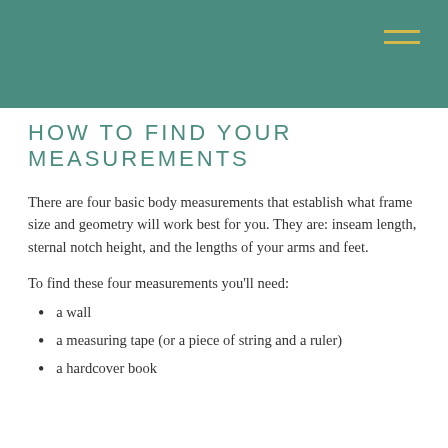HOW TO FIND YOUR MEASUREMENTS
There are four basic body measurements that establish what frame size and geometry will work best for you. They are: inseam length, sternal notch height, and the lengths of your arms and feet.
To find these four measurements you'll need:
a wall
a measuring tape (or a piece of string and a ruler)
a hardcover book